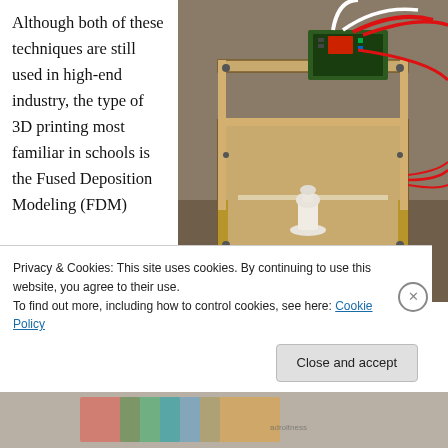Although both of these techniques are still used in high-end industry, the type of 3D printing most familiar in schools is the Fused Deposition Modeling (FDM)
[Figure (photo): A DIY/hobbyist FDM 3D printer made from laser-cut wood with red and white wires, an Arduino-style circuit board on top, and a small white printed object (chess piece or figurine) on the print bed.]
Privacy & Cookies: This site uses cookies. By continuing to use this website, you agree to their use.
To find out more, including how to control cookies, see here: Cookie Policy